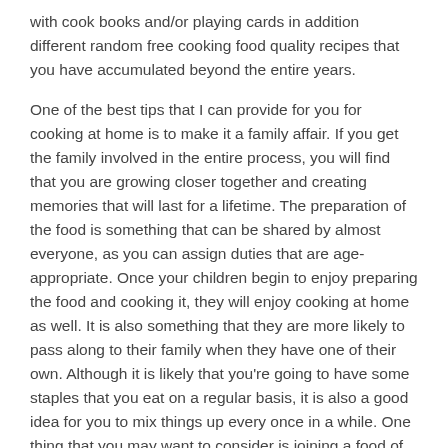with cook books and/or playing cards in addition different random free cooking food quality recipes that you have accumulated beyond the entire years.
One of the best tips that I can provide for you for cooking at home is to make it a family affair. If you get the family involved in the entire process, you will find that you are growing closer together and creating memories that will last for a lifetime. The preparation of the food is something that can be shared by almost everyone, as you can assign duties that are age-appropriate. Once your children begin to enjoy preparing the food and cooking it, they will enjoy cooking at home as well. It is also something that they are more likely to pass along to their family when they have one of their own. Although it is likely that you're going to have some staples that you eat on a regular basis, it is also a good idea for you to mix things up every once in a while. One thing that you may want to consider is joining a food of the month